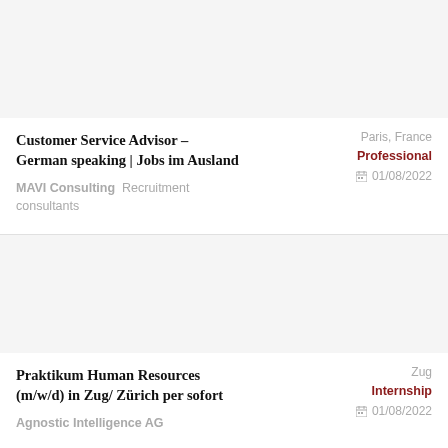Customer Service Advisor – German speaking | Jobs im Ausland
MAVI Consulting  Recruitment consultants
Paris, France
Professional
01/08/2022
Praktikum Human Resources (m/w/d) in Zug/ Zürich per sofort
Agnostic Intelligence AG
Zug
Internship
01/08/2022